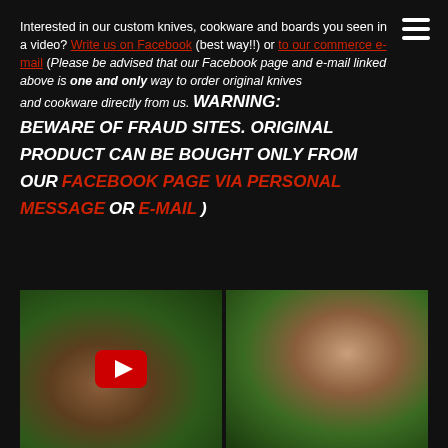Interested in our custom knives, cookware and boards you seen in a video? Write us on Facebook (best way!!) or to our commerce e-mail (Please be advised that our Facebook page and e-mail linked above is one and only way to order original knives and cookware directly from us. WARNING: BEWARE OF FRAUD SITES. ORIGINAL PRODUCT CAN BE BOUGHT ONLY FROM OUR FACEBOOK PAGE VIA PERSONAL MESSAGE OR E-MAIL)
[Figure (photo): Two food/cooking photos side by side with a YouTube play button overlay on the left image. Left image shows fried/breaded food items on a dark surface with green bokeh background. Right image shows a hand holding a small food item with green bokeh background.]